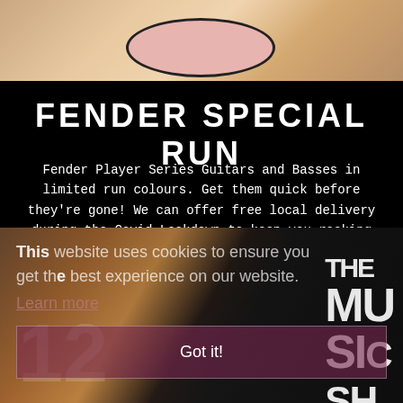[Figure (photo): Top portion showing a pink guitar body on a wooden surface]
FENDER SPECIAL RUN
Fender Player Series Guitars and Basses in limited run colours. Get them quick before they're gone! We can offer free local delivery during the Covid Lockdown to keep you rocking at home.
SHOP NOW
[Figure (photo): Bottom photo showing The Music Shop signage, dark moody tones with warm orange guitar neck in foreground. Cookie consent overlay visible with text: This website uses cookies to ensure you get the best experience on our website. Learn more. Got it!]